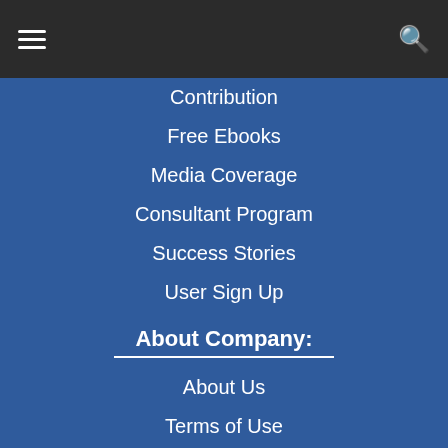Navigation bar with hamburger menu and search icon
Contribution
Free Ebooks
Media Coverage
Consultant Program
Success Stories
User Sign Up
About Company:
About Us
Terms of Use
Privacy Policy
Careers  We are hiring
Select your country:
[Figure (illustration): Four country flags: India, USA, UAE, UK]